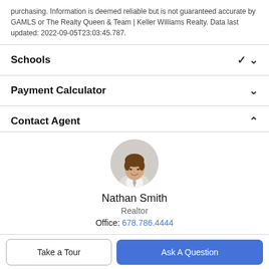purchasing. Information is deemed reliable but is not guaranteed accurate by GAMLS or The Realty Queen & Team | Keller Williams Realty. Data last updated: 2022-09-05T23:03:45.787.
Schools
Payment Calculator
Contact Agent
[Figure (photo): Circular profile photo of Nathan Smith, a man in a light-colored suit jacket, smiling.]
Nathan Smith
Realtor
Office: 678.786.4444
Take a Tour
Ask A Question